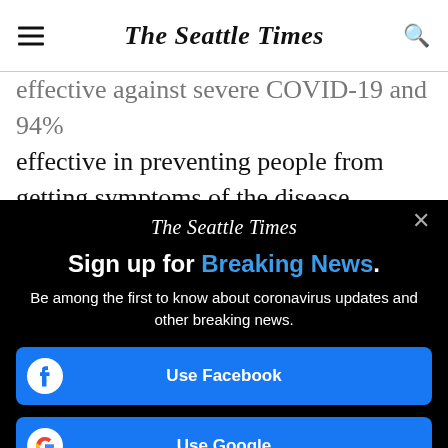The Seattle Times
effective against severe COVID-19 and 94% effective in preventing people from getting symptoms of the disease. WHO's expert vaccine group recommended the vaccine for everyone age 18 and over.
[Figure (screenshot): The Seattle Times newsletter signup modal overlay on black background with 'Sign up for Breaking News.' headline and social login buttons for Facebook and Google.]
Sign up for Breaking News.
Be among the first to know about coronavirus updates and other breaking news.
Use Facebook
Use Google